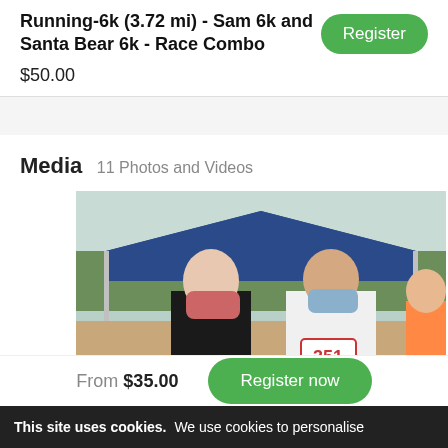Running-6k (3.72 mi) - Sam 6k and Santa Bear 6k - Race Combo
$50.00
Media  11 Photos and Videos
[Figure (photo): Two people wearing face masks standing under a blue canopy tent outdoors at a race event. One person wears a black tank top, the other wears a white shirt with race bib number 351.]
From $35.00
Register now
This site uses cookies. We use cookies to personalise